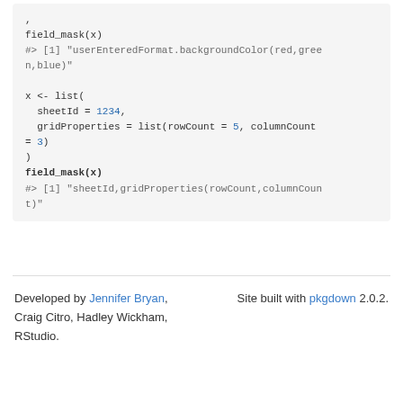,
field_mask(x)
#> [1] "userEnteredFormat.backgroundColor(red,green,blue)"

x <- list(
  sheetId = 1234,
  gridProperties = list(rowCount = 5, columnCount = 3)
)
field_mask(x)
#> [1] "sheetId,gridProperties(rowCount,columnCount)"
Developed by Jennifer Bryan, Craig Citro, Hadley Wickham, RStudio.
Site built with pkgdown 2.0.2.